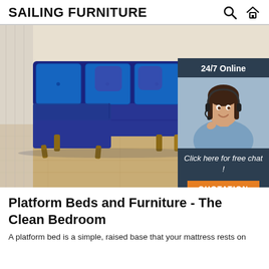SAILING FURNITURE
[Figure (photo): Blue L-shaped sectional sofa with ottoman and wooden legs on a light wood floor, with a customer service representative overlay showing '24/7 Online', 'Click here for free chat!', and a 'QUOTATION' button]
Platform Beds and Furniture - The Clean Bedroom
A platform bed is a simple, raised base that your mattress rests on